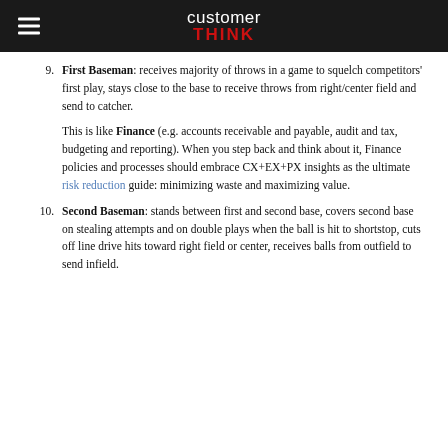customerTHINK
9. First Baseman: receives majority of throws in a game to squelch competitors' first play, stays close to the base to receive throws from right/center field and send to catcher.
This is like Finance (e.g. accounts receivable and payable, audit and tax, budgeting and reporting). When you step back and think about it, Finance policies and processes should embrace CX+EX+PX insights as the ultimate risk reduction guide: minimizing waste and maximizing value.
10. Second Baseman: stands between first and second base, covers second base on stealing attempts and on double plays when the ball is hit to shortstop, cuts off line drive hits toward right field or center, receives balls from outfield to send infield.